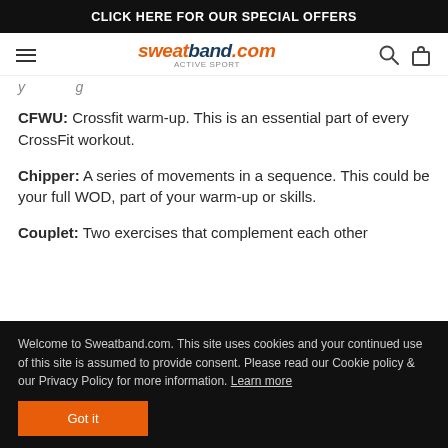CLICK HERE FOR OUR SPECIAL OFFERS
sweatband.com active sport
(partial heading text cut off)
CFWU: Crossfit warm-up. This is an essential part of every CrossFit workout.
Chipper: A series of movements in a sequence. This could be your full WOD, part of your warm-up or skills.
Couplet: Two exercises that complement each other
Welcome to Sweatband.com. This site uses cookies and your continued use of this site is assumed to provide consent. Please read our Cookie policy & our Privacy Policy for more information. Learn more
Got it